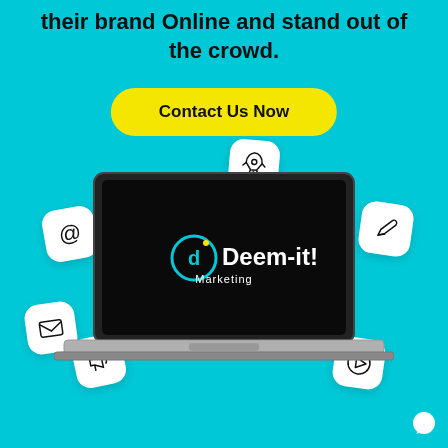their brand Online and stand out of the crowd.
Contact Us Now
[Figure (illustration): Laptop displaying Deem-it! Marketing logo on black screen, surrounded by floating white icon cards (email @, rocket, edit/pen, mail envelope, megaphone, play button)]